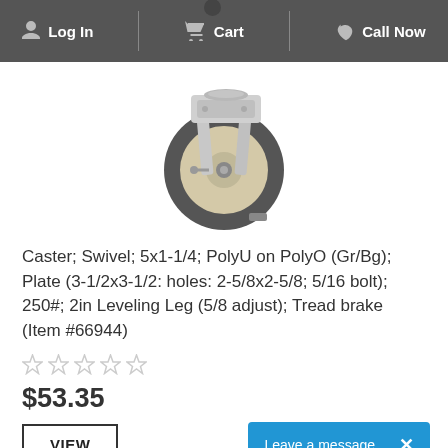Log In  Cart  Call Now
[Figure (photo): Caster wheel product photo showing a swivel caster with polyurethane on polyolefin wheel, gray and beige, with metal plate mount]
Caster; Swivel; 5x1-1/4; PolyU on PolyO (Gr/Bg); Plate (3-1/2x3-1/2: holes: 2-5/8x2-5/8; 5/16 bolt); 250#; 2in Leveling Leg (5/8 adjust); Tread brake (Item #66944)
☆☆☆☆☆
$53.35
VIEW
Leave a message  ×